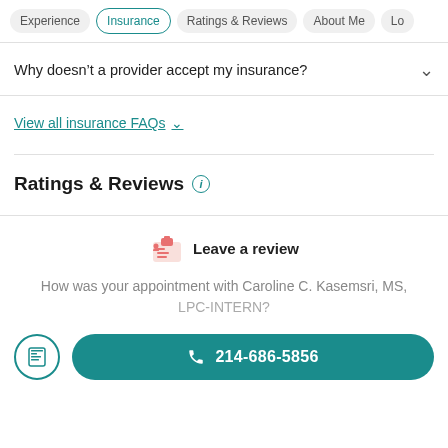Experience | Insurance | Ratings & Reviews | About Me | Lo...
Why doesn't a provider accept my insurance?
View all insurance FAQs
Ratings & Reviews
Leave a review
How was your appointment with Caroline C. Kasemsri, MS, LPC-INTERN?
214-686-5856